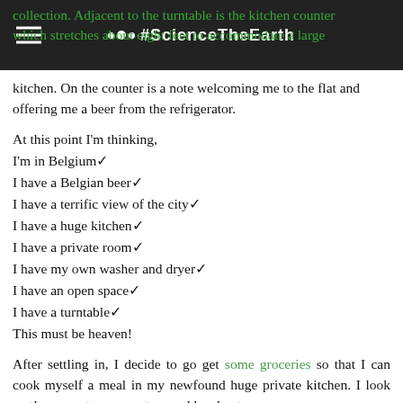#SCIENCETHEEARTH
collection. Adjacent to the turntable is the kitchen counter which stretches about eight feet to accommodate a large kitchen. On the counter is a note welcoming me to the flat and offering me a beer from the refrigerator.
At this point I'm thinking,
I'm in Belgium✓
I have a Belgian beer✓
I have a terrific view of the city✓
I have a huge kitchen✓
I have a private room✓
I have my own washer and dryer✓
I have an open space✓
I have a turntable✓
This must be heaven!
After settling in, I decide to go get some groceries so that I can cook myself a meal in my newfound huge private kitchen. I look up the nearest grocery store and head out.